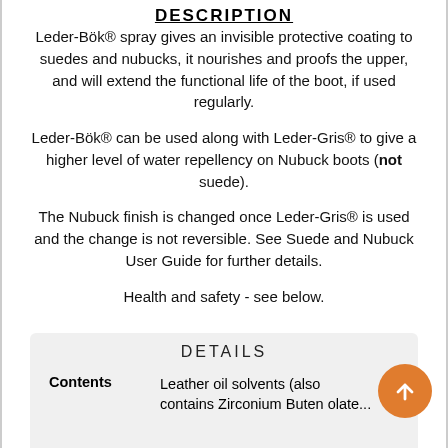DESCRIPTION
Leder-Bök® spray gives an invisible protective coating to suedes and nubucks, it nourishes and proofs the upper, and will extend the functional life of the boot, if used regularly.
Leder-Bök® can be used along with Leder-Gris® to give a higher level of water repellency on Nubuck boots (not suede).
The Nubuck finish is changed once Leder-Gris® is used and the change is not reversible. See Suede and Nubuck User Guide for further details.
Health and safety - see below.
DETAILS
| Contents |  |
| --- | --- |
| Contents | Leather oil solvents (also contains Zirconium Buten olate... |